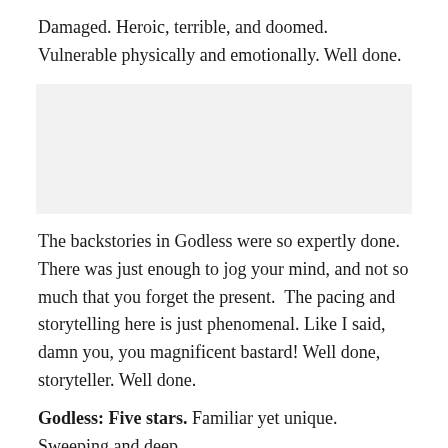Damaged. Heroic, terrible, and doomed. Vulnerable physically and emotionally. Well done.
[Figure (other): Large light gray rectangular placeholder box]
The backstories in Godless were so expertly done. There was just enough to jog your mind, and not so much that you forget the present.  The pacing and storytelling here is just phenomenal. Like I said, damn you, you magnificent bastard! Well done, storyteller. Well done.
Godless: Five stars. Familiar yet unique. Sweeping and deep.